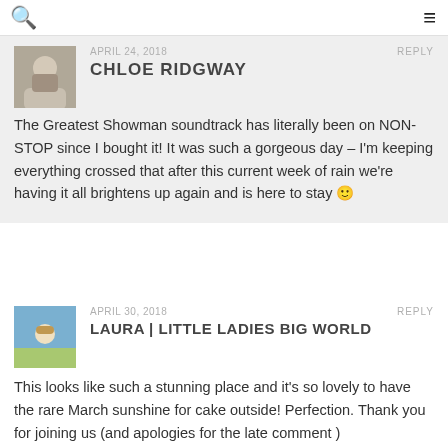APRIL 24, 2018   REPLY
CHLOE RIDGWAY
The Greatest Showman soundtrack has literally been on NON-STOP since I bought it! It was such a gorgeous day – I'm keeping everything crossed that after this current week of rain we're having it all brightens up again and is here to stay 🙂
APRIL 30, 2018   REPLY
LAURA | LITTLE LADIES BIG WORLD
This looks like such a stunning place and it's so lovely to have the rare March sunshine for cake outside! Perfection. Thank you for joining us (and apologies for the late comment ) #myfamilyadventures